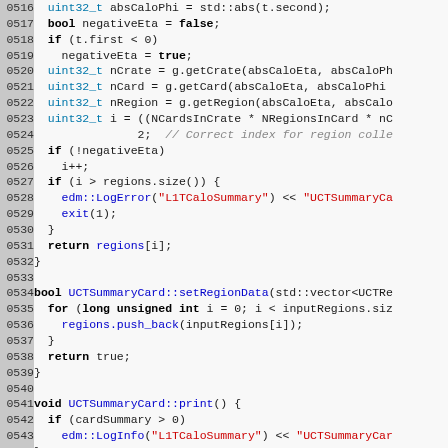[Figure (screenshot): Source code listing in C++ showing lines 0516-0544 of a UCTSummaryCard implementation with syntax highlighting. Line numbers shown in gray background on left. Code includes functions for region lookup, setRegionData, and print methods.]